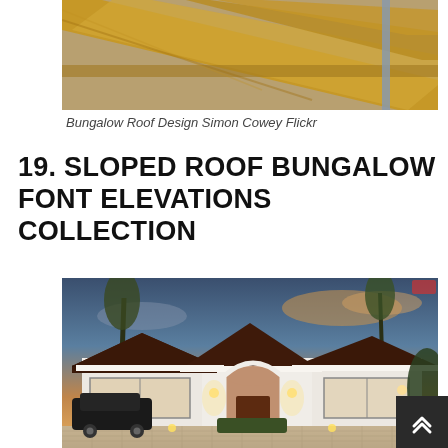[Figure (photo): Close-up photo of wooden roof structure/bungalow roof beams under construction, with timber framing visible against a light background]
Bungalow Roof Design Simon Cowey Flickr
19. SLOPED ROOF BUNGALOW FONT ELEVATIONS COLLECTION
[Figure (photo): Architectural rendering of a luxury sloped roof bungalow with dark brown/maroon tiled hip roofs, white facade, arched entrance, parked SUV in driveway, evening/dusk lighting with warm garden lights, lush landscaping]